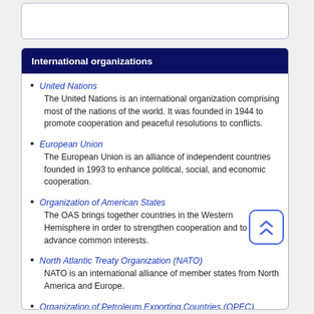International organizations
United Nations
The United Nations is an international organization comprising most of the nations of the world. It was founded in 1944 to promote cooperation and peaceful resolutions to conflicts.
European Union
The European Union is an alliance of independent countries founded in 1993 to enhance political, social, and economic cooperation.
Organization of American States
The OAS brings together countries in the Western Hemisphere in order to strengthen cooperation and to advance common interests.
North Atlantic Treaty Organization (NATO)
NATO is an international alliance of member states from North America and Europe.
Organization of Petroleum Exporting Countries (OPEC)
OPEC is a permanent intergovernmental organization of 14 oil-exporting developing nations that coordinates and unifies the